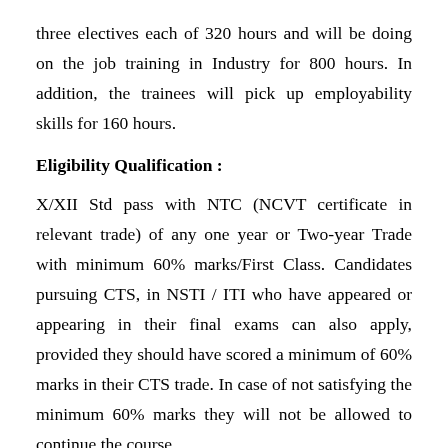three electives each of 320 hours and will be doing on the job training in Industry for 800 hours. In addition, the trainees will pick up employability skills for 160 hours.
Eligibility Qualification :
X/XII Std pass with NTC (NCVT certificate in relevant trade) of any one year or Two-year Trade with minimum 60% marks/First Class. Candidates pursuing CTS, in NSTI / ITI who have appeared or appearing in their final exams can also apply, provided they should have scored a minimum of 60% marks in their CTS trade. In case of not satisfying the minimum 60% marks they will not be allowed to continue the course